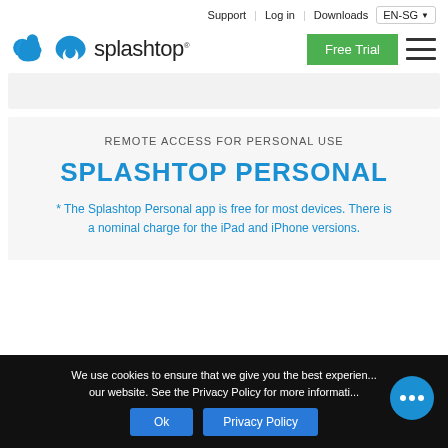Support | Log in | Downloads | EN-SG
[Figure (logo): Splashtop logo with blue splash icon and splashtop text]
REMOTE ACCESS FOR PERSONAL USE
SPLASHTOP PERSONAL
* The Splashtop Personal app is free for most devices. There is a nominal charge for the iPad and iPhone versions.
We use cookies to ensure that we give you the best experience on our website. See the Privacy Policy for more information. Ok | Privacy Policy